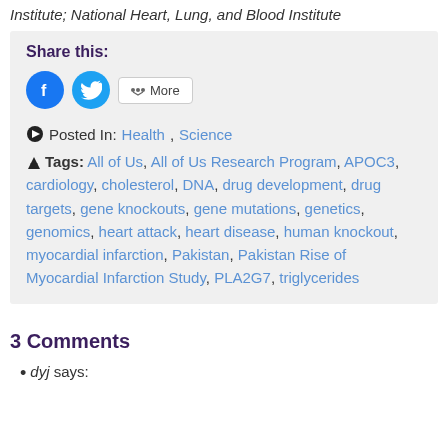Institute; National Heart, Lung, and Blood Institute
Share this:
[Figure (other): Share buttons: Facebook circle button, Twitter circle button, and a More button with share icon]
Posted In: Health, Science
Tags: All of Us, All of Us Research Program, APOC3, cardiology, cholesterol, DNA, drug development, drug targets, gene knockouts, gene mutations, genetics, genomics, heart attack, heart disease, human knockout, myocardial infarction, Pakistan, Pakistan Rise of Myocardial Infarction Study, PLA2G7, triglycerides
3 Comments
dyj says: